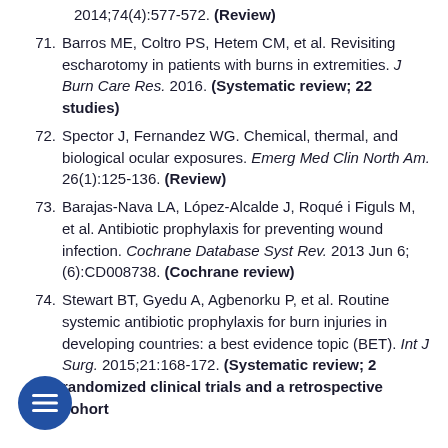2014;74(4):577-572. (Review)
71. Barros ME, Coltro PS, Hetem CM, et al. Revisiting escharotomy in patients with burns in extremities. J Burn Care Res. 2016. (Systematic review; 22 studies)
72. Spector J, Fernandez WG. Chemical, thermal, and biological ocular exposures. Emerg Med Clin North Am. 26(1):125-136. (Review)
73. Barajas-Nava LA, López-Alcalde J, Roqué i Figuls M, et al. Antibiotic prophylaxis for preventing wound infection. Cochrane Database Syst Rev. 2013 Jun 6; (6):CD008738. (Cochrane review)
74. Stewart BT, Gyedu A, Agbenorku P, et al. Routine systemic antibiotic prophylaxis for burn injuries in developing countries: a best evidence topic (BET). Int J Surg. 2015;21:168-172. (Systematic review; 2 randomized clinical trials and a retrospective cohort